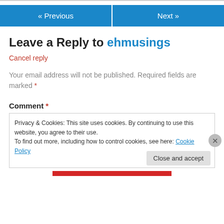« Previous   Next »
Leave a Reply to ehmusings
Cancel reply
Your email address will not be published. Required fields are marked *
Comment *
Privacy & Cookies: This site uses cookies. By continuing to use this website, you agree to their use. To find out more, including how to control cookies, see here: Cookie Policy
Close and accept